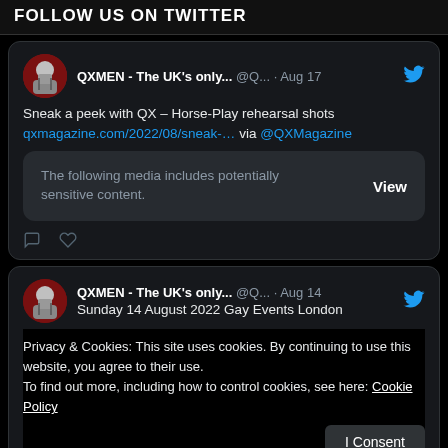FOLLOW US ON TWITTER
[Figure (screenshot): Tweet card from QXMEN - The UK's only... @Q... · Aug 17: Sneak a peek with QX – Horse-Play rehearsal shots qxmagazine.com/2022/08/sneak-... via @QXMagazine. Contains sensitive media notice with View button.]
[Figure (screenshot): Tweet card from QXMEN - The UK's only... @Q... · Aug 14: Sunday 14 August 2022 Gay Events London. Overlaid with cookie consent notice: Privacy & Cookies: This site uses cookies. By continuing to use this website, you agree to their use. To find out more, including how to control cookies, see here: Cookie Policy. With I Consent button.]